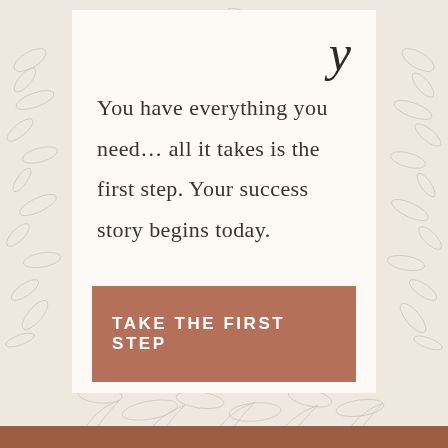[Figure (illustration): Botanical floral and fern border with light grey/beige leaf illustrations on left, right, top and bottom edges of the page on a warm cream background]
You have everything you need… all it takes is the first step. Your success story begins today.
TAKE THE FIRST STEP